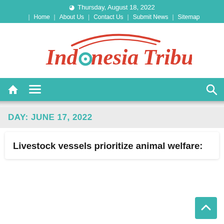Thursday, August 18, 2022
| Home | About Us | Contact Us | Submit News | Sitemap
[Figure (logo): Indonesia Tribune logo with red stylized text and green circle on the 'o', with red curved swoosh above]
DAY: JUNE 17, 2022
Livestock vessels prioritize animal welfare: